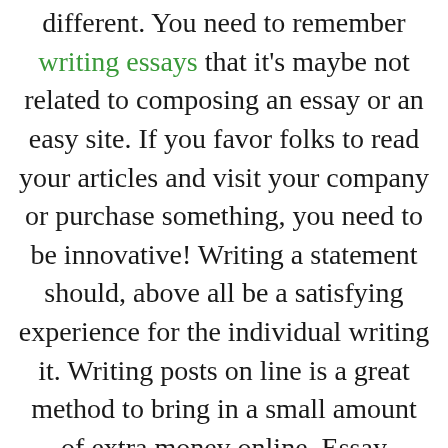different. You need to remember writing essays that it's maybe not related to composing an essay or an easy site. If you favor folks to read your articles and visit your company or purchase something, you need to be innovative! Writing a statement should, above all be a satisfying experience for the individual writing it. Writing posts on line is a great method to bring in a small amount of extra money online. Essay writing is an uncommon artwork. It truly is often a daunting .task to many individuals
Advertisement explain the